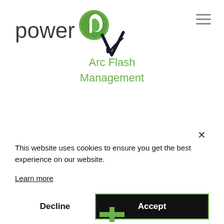[Figure (logo): PowerP logo with green leaf/P icon and 'power' text in dark gray]
[Figure (logo): Hamburger menu icon (three horizontal lines) in top right]
[Figure (logo): Dark italic checkmark / V symbol (Verizon-style)]
Arc Flash Management
This website uses cookies to ensure you get the best experience on our website.
Learn more
Decline
Accept